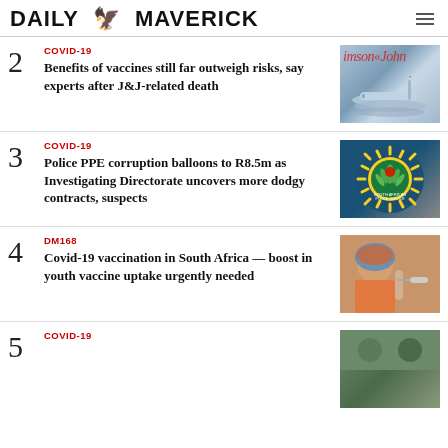DAILY MAVERICK
2 COVID-19 Benefits of vaccines still far outweigh risks, say experts after J&J-related death
3 COVID-19 Police PPE corruption balloons to R8.5m as Investigating Directorate uncovers more dodgy contracts, suspects
4 DM168 Covid-19 vaccination in South Africa — boost in youth vaccine uptake urgently needed
5 COVID-19